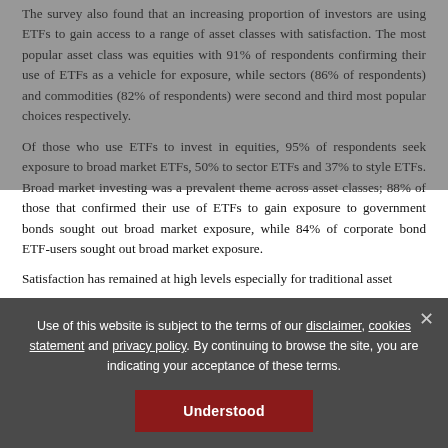The survey also found that an increasing proportion of investors are using ETFs to gain access to a range of asset classes with satisfaction. The most popular asset class was equities with 91% of respondents confirming their use of ETFs as a vehicle for exposure, while sectors (86% of respondents) and commodities (82% of respondents) were second and third most popular choices respectively.
Of those who use ETFs to invest in equities, 95% of respondents seek exposure to broad market ETFs, 50% to sector ETFs and 37% to style ETFs. Broad market investing was a prevalent theme across asset classes; 88% of those that confirmed their use of ETFs to gain exposure to government bonds sought out broad market exposure, while 84% of corporate bond ETF-users sought out broad market exposure.
Satisfaction has remained at high levels especially for traditional asset
Use of this website is subject to the terms of our disclaimer, cookies statement and privacy policy. By continuing to browse the site, you are indicating your acceptance of these terms.
Understood